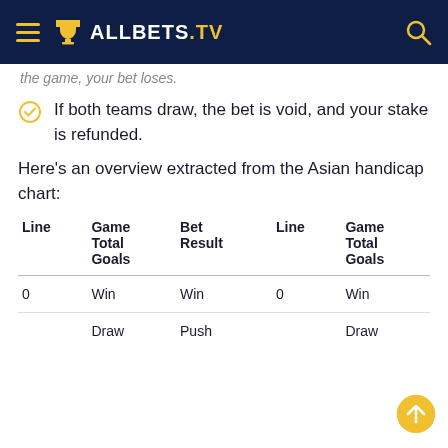ALLBETS.TV
the game, your bet loses.
If both teams draw, the bet is void, and your stake is refunded.
Here's an overview extracted from the Asian handicap chart:
| Line | Game Total Goals | Bet Result | Line | Game Total Goals |
| --- | --- | --- | --- | --- |
| 0 | Win | Win | 0 | Win |
|  | Draw | Push |  | Draw |